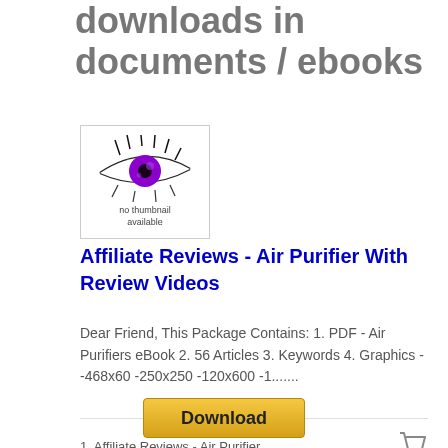downloads in documents / ebooks
[Figure (photo): Thumbnail image showing a purple eye graphic with 'no thumbnail available' text overlay]
Affiliate Reviews - Air Purifier With Review Videos
Dear Friend, This Package Contains: 1. PDF - Air Purifiers eBook 2. 56 Articles 3. Keywords 4. Graphics - -468x60 -250x250 -120x600 -1.......
1. Affiliate Reviews - Air Purifier